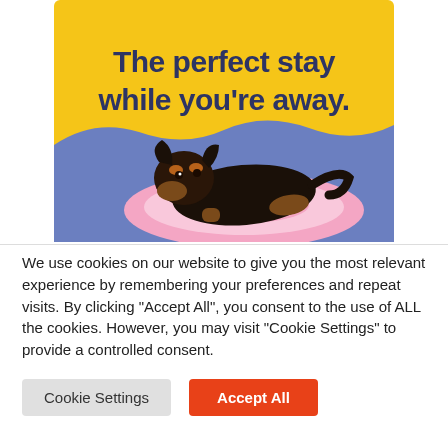[Figure (illustration): Promotional banner with yellow background at top showing bold dark blue text 'The perfect stay while you're away.' with a wave-shaped blue section at bottom containing a black and tan dog lying on a pink fluffy dog bed.]
We use cookies on our website to give you the most relevant experience by remembering your preferences and repeat visits. By clicking "Accept All", you consent to the use of ALL the cookies. However, you may visit "Cookie Settings" to provide a controlled consent.
Cookie Settings
Accept All